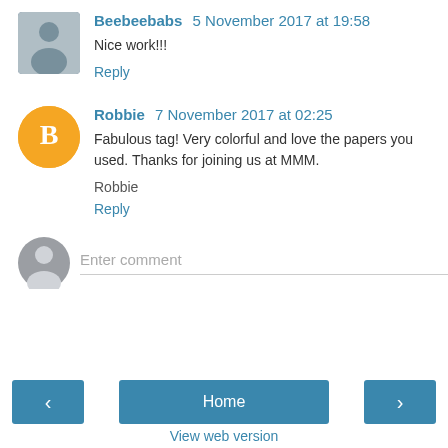Beebeebabs 5 November 2017 at 19:58
Nice work!!!
Reply
Robbie 7 November 2017 at 02:25
Fabulous tag! Very colorful and love the papers you used. Thanks for joining us at MMM.
Robbie
Reply
Enter comment
Home
View web version